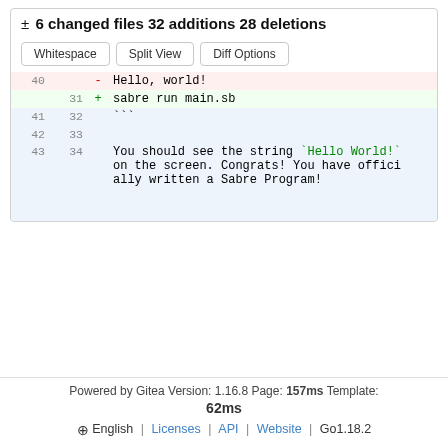± 6 changed files 32 additions 28 deletions
[Figure (screenshot): Git diff view showing buttons: Whitespace, Split View, Diff Options]
| old | new | marker | code |
| --- | --- | --- | --- |
| 40 |  | - | Hello, world! |
|  | 31 | + | sabre run main.sb |
| 41 | 32 |  | ``` |
| 42 | 33 |  |  |
| 43 | 34 |  | You should see the string `Hello World!` on the screen. Congrats! You have officially written a Sabre Program! |
Powered by Gitea Version: 1.16.8 Page: 157ms Template: 62ms
⊕ English | Licenses | API | Website | Go1.18.2